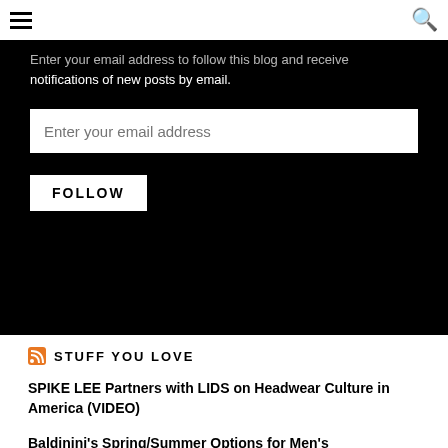≡ [menu icon] | 🔍 [search icon]
Enter your email address to follow this blog and receive notifications of new posts by email.
[Figure (screenshot): Email input field with placeholder text 'Enter your email address']
FOLLOW
STUFF YOU LOVE
SPIKE LEE Partners with LIDS on Headwear Culture in America (VIDEO)
Baldinini's Spring/Summer Options for Men's
Lets Talk About Brazilian Manteiga Hem & High...